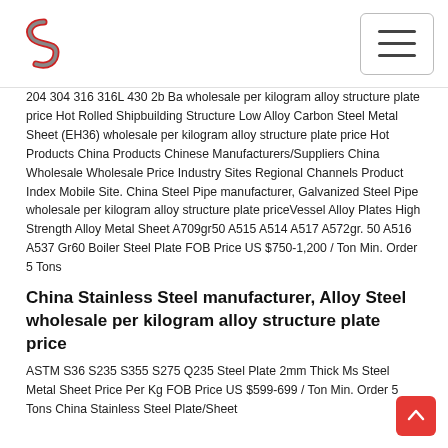Logo and navigation menu
204 304 316 316L 430 2b Ba wholesale per kilogram alloy structure plate price Hot Rolled Shipbuilding Structure Low Alloy Carbon Steel Metal Sheet (EH36) wholesale per kilogram alloy structure plate price Hot Products China Products Chinese Manufacturers/Suppliers China Wholesale Wholesale Price Industry Sites Regional Channels Product Index Mobile Site. China Steel Pipe manufacturer, Galvanized Steel Pipe wholesale per kilogram alloy structure plate priceVessel Alloy Plates High Strength Alloy Metal Sheet A709gr50 A515 A514 A517 A572gr. 50 A516 A537 Gr60 Boiler Steel Plate FOB Price US $750-1,200 / Ton Min. Order 5 Tons
China Stainless Steel manufacturer, Alloy Steel wholesale per kilogram alloy structure plate price
ASTM S36 S235 S355 S275 Q235 Steel Plate 2mm Thick Ms Steel Metal Sheet Price Per Kg FOB Price US $599-699 / Ton Min. Order 5 Tons China Stainless Steel Plate/Sheet